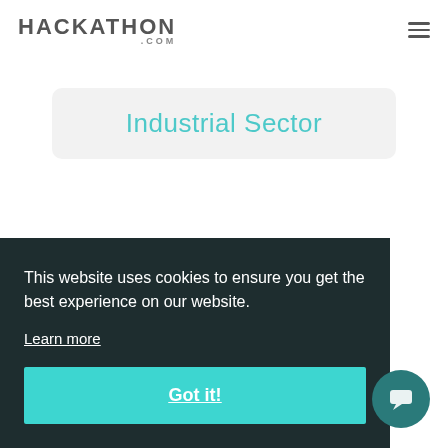HACKATHON .COM
Industrial Sector
This website uses cookies to ensure you get the best experience on our website.
Learn more
Got it!